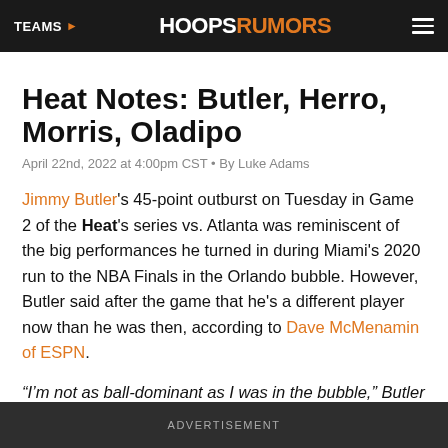TEAMS  HOOPSRUMORS
Heat Notes: Butler, Herro, Morris, Oladipo
April 22nd, 2022 at 4:00pm CST • By Luke Adams
Jimmy Butler's 45-point outburst on Tuesday in Game 2 of the Heat's series vs. Atlanta was reminiscent of the big performances he turned in during Miami's 2020 run to the NBA Finals in the Orlando bubble. However, Butler said after the game that he's a different player now than he was then, according to Dave McMenamin of ESPN.
“I’m not as ball-dominant as I was in the bubble,” Butler
ADVERTISEMENT